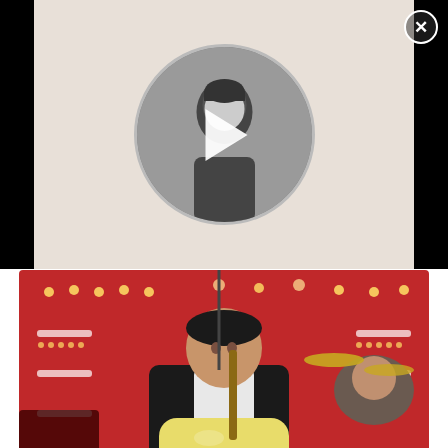[Figure (screenshot): Video player with circular thumbnail showing a person in black and white, with a play button overlay. Black background around the video player area. Close X button top right.]
[Figure (photo): Photo of Wayne Newton performing on stage playing a yellow electric guitar, wearing a black suit, against a red background with stage lights. A drummer is visible in the background.]
The estimated net worth of Wayne Netwon is over $120 million.
Photo Source: Earn The Necklace
[Figure (screenshot): Advertisement overlay: adpushup badge in red, Ad label, image of a Firestone store, text 'Download The Free App', subtext 'Firestone', with play and close icons. Red up-arrow button on far right. Partial text at bottom left starting with 'Eve' and 'Wa' visible, and partial italic text 'ce' on right.]